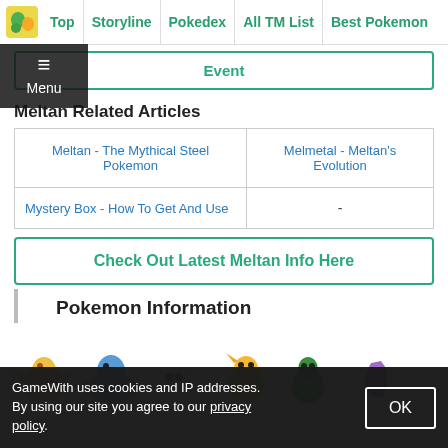Top | Storyline | Pokedex | All TM List | Best Pokemon
Event
Meltan Related Articles
|  |  |
| --- | --- |
| Meltan - The Mythical Steel Pokemon | Melmetal - Meltan's Evolution |
| Mystery Box - How To Get And Use | - |
Check Out Latest Meltan Info Here
Pokemon Information
[Figure (illustration): Row of Pokemon characters including a bird, Lapras, Butterfree, Dragonite, and others]
GameWith uses cookies and IP addresses. By using our site you agree to our privacy policy.